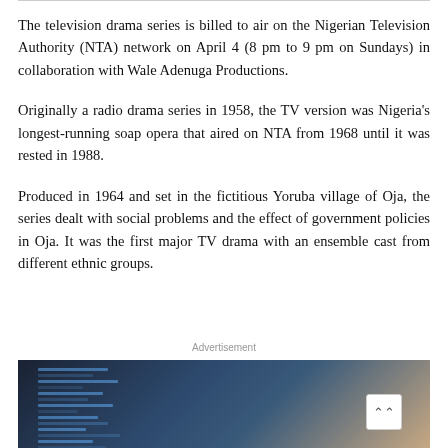The television drama series is billed to air on the Nigerian Television Authority (NTA) network on April 4 (8 pm to 9 pm on Sundays) in collaboration with Wale Adenuga Productions.
Originally a radio drama series in 1958, the TV version was Nigeria's longest-running soap opera that aired on NTA from 1968 until it was rested in 1988.
Produced in 1964 and set in the fictitious Yoruba village of Oja, the series dealt with social problems and the effect of government policies in Oja. It was the first major TV drama with an ensemble cast from different ethnic groups.
Advertisement
[Figure (photo): Advertisement image showing a dark background with code/programming text on screen and a person's hand, suggesting a technology advertisement.]